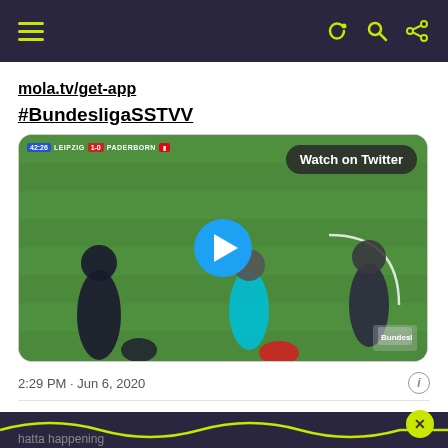Navigation bar with hamburger menu and icons
mola.tv/get-app
#BundesligaSSTVV
[Figure (screenshot): Video thumbnail of a Bundesliga match Leipzig 1-0 Paderborn at 42:26, showing a referee and players on a football pitch, with a blue play button in the center and 'Watch on Twitter' button in top right]
2:29 PM · Jun 6, 2020
11  Reply  Copy link